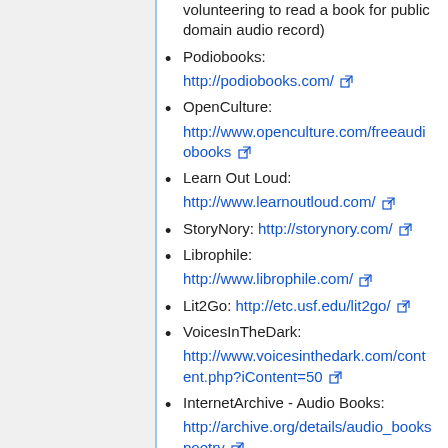volunteering to read a book for public domain audio record)
Podiobooks: http://podiobooks.com/
OpenCulture: http://www.openculture.com/freeaudiobooks
Learn Out Loud: http://www.learnoutloud.com/
StoryNory: http://storynory.com/
Librophile: http://www.librophile.com/
Lit2Go: http://etc.usf.edu/lit2go/
VoicesInTheDark: http://www.voicesinthedark.com/content.php?iContent=50
InternetArchive - Audio Books: http://archive.org/details/audio_bookspoetry
Gutenberg AudioBooks: